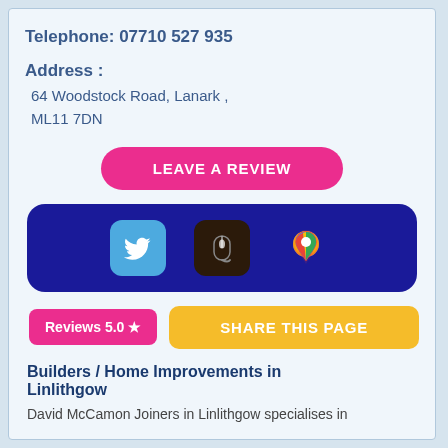Telephone: 07710 527 935
Address :
64 Woodstock Road, Lanark ,
ML11 7DN
[Figure (other): Pink rounded button with white text: LEAVE A REVIEW]
[Figure (other): Dark blue rounded banner with three icons: Twitter (blue bird), mouse/cursor (dark brown), Google Maps (colorful pin)]
[Figure (other): Pink badge: Reviews 5.0 star, and yellow button: SHARE THIS PAGE]
Builders / Home Improvements in Linlithgow
David McCamon Joiners in Linlithgow specialises in